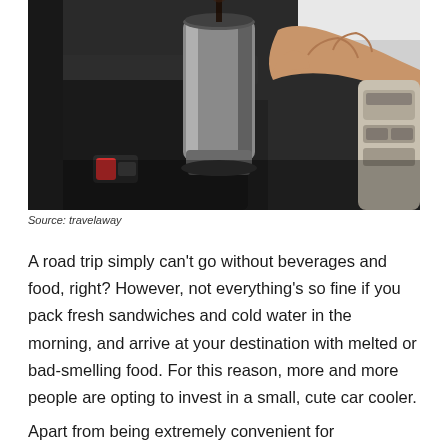[Figure (photo): A person's hand holding a stainless steel travel mug/thermos in a car center console area, with a seat belt buckle visible with a red button. The interior is dark grey/black leather with car controls visible on the right side.]
Source: travelaway
A road trip simply can't go without beverages and food, right? However, not everything's so fine if you pack fresh sandwiches and cold water in the morning, and arrive at your destination with melted or bad-smelling food. For this reason, more and more people are opting to invest in a small, cute car cooler.
Apart from being extremely convenient for transporting and